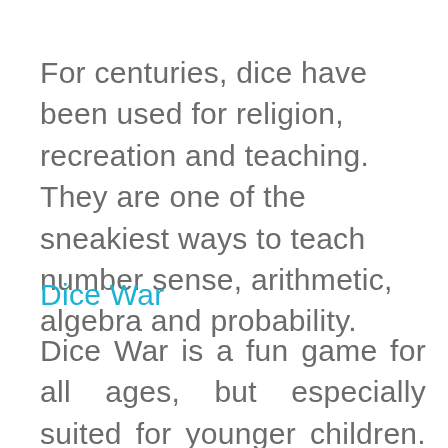For centuries, dice have been used for religion, recreation and teaching. They are one of the sneakiest ways to teach number sense, arithmetic, algebra and probability.
Dice War
Dice War is a fun game for all ages, but especially suited for younger children. Children often move from math class to math class without a